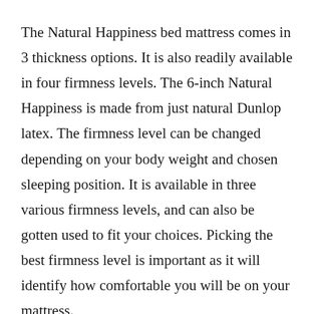The Natural Happiness bed mattress comes in 3 thickness options. It is also readily available in four firmness levels. The 6-inch Natural Happiness is made from just natural Dunlop latex. The firmness level can be changed depending on your body weight and chosen sleeping position. It is available in three various firmness levels, and can also be gotten used to fit your choices. Picking the best firmness level is important as it will identify how comfortable you will be on your mattress.